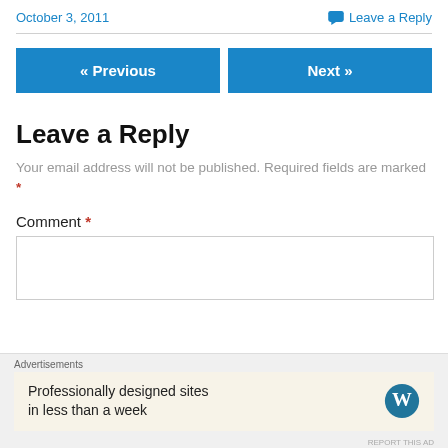October 3, 2011   Leave a Reply
Leave a Reply
Your email address will not be published. Required fields are marked *
Comment *
Advertisements
Professionally designed sites in less than a week